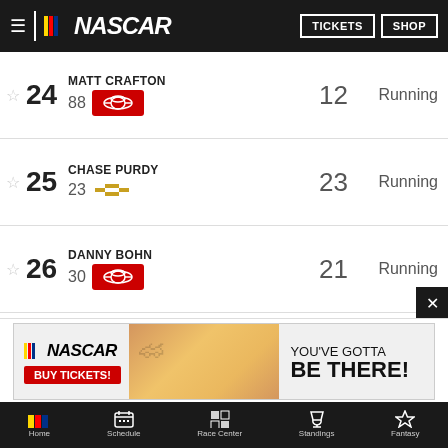NASCAR | TICKETS | SHOP
| Pos | Driver | Car# | Laps | Status |
| --- | --- | --- | --- | --- |
| 24 | MATT CRAFTON | 88 | 12 | Running |
| 25 | CHASE PURDY | 23 | 23 | Running |
| 26 | DANNY BOHN | 30 | 21 | Running |
| 27 | BRET HOLMES | 32 | 32 | Running |
| 28 | DEREK KRAUS |  |  |  |
[Figure (infographic): NASCAR advertisement banner: NASCAR logo, BUY TICKETS button, race car image, text YOU'VE GOTTA BE THERE!]
Home | Schedule | Race Center | Standings | Fantasy